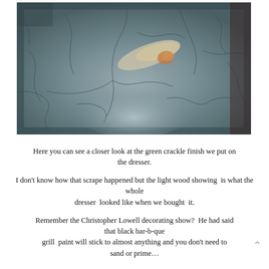[Figure (photo): Close-up photograph of a green crackle finish on a dresser surface, showing a scrape where the light wood underneath is visible. The texture shows dark crack lines over a metallic gray-green painted surface.]
Here you can see a closer look at the green crackle finish we put on the dresser.
I don't know how that scrape happened but the light wood showing is what the whole dresser looked like when we bought it.

Remember the Christopher Lowell decorating show? He had said that black bar-b-que grill paint will stick to almost anything and you don't need to sand or prime…